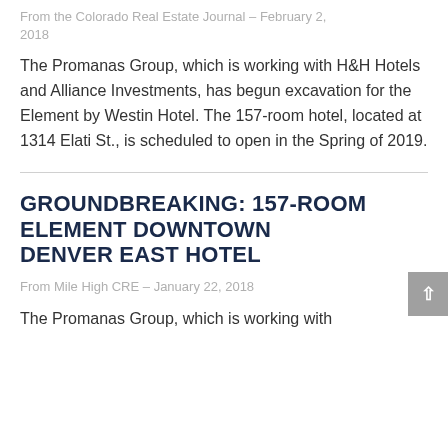From the Colorado Real Estate Journal – February 2, 2018
The Promanas Group, which is working with H&H Hotels and Alliance Investments, has begun excavation for the Element by Westin Hotel. The 157-room hotel, located at 1314 Elati St., is scheduled to open in the Spring of 2019.
GROUNDBREAKING: 157-ROOM ELEMENT DOWNTOWN DENVER EAST HOTEL
From Mile High CRE – January 22, 2018
The Promanas Group, which is working with